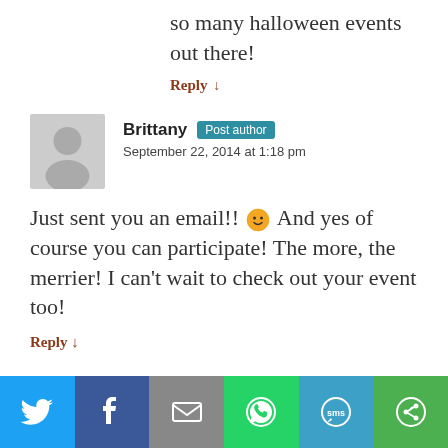so many halloween events out there!
Reply ↓
Brittany Post author
September 22, 2014 at 1:18 pm
Just sent you an email!! 🙂 And yes of course you can participate! The more, the merrier! I can't wait to check out your event too!
Reply ↓